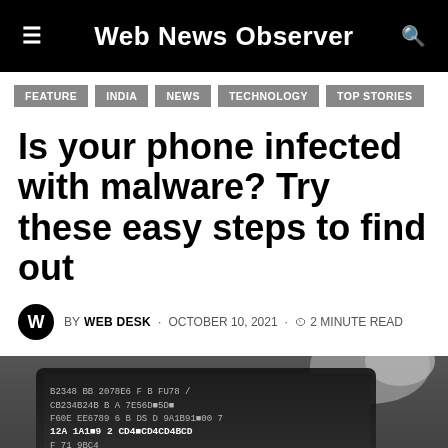Web News Observer
FEATURE
INDIA
NEWS
TECHNOLOGY
TOP STORIES
Is your phone infected with malware? Try these easy steps to find out
BY WEB DESK · OCTOBER 10, 2021 · 2 MINUTE READ
[Figure (photo): Black and white photo of a hand holding a smartphone with hexadecimal/binary code visible on screen, and the word 'malware' partially visible at the bottom]